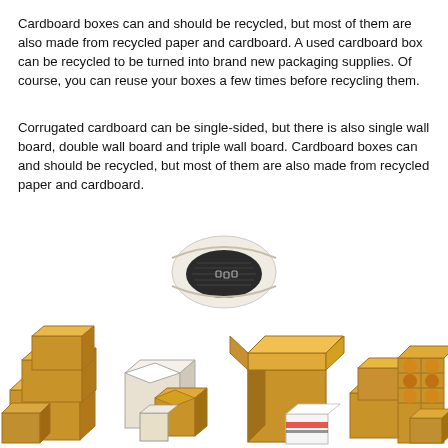Cardboard boxes can and should be recycled, but most of them are also made from recycled paper and cardboard. A used cardboard box can be recycled to be turned into brand new packaging supplies. Of course, you can reuse your boxes a few times before recycling them.
Corrugated cardboard can be single-sided, but there is also single wall board, double wall board and triple wall board. Cardboard boxes can and should be recycled, but most of them are also made from recycled paper and cardboard.
[Figure (photo): A single open corrugated cardboard box viewed from above, showing the wavy corrugated interior lining.]
[Figure (photo): A collage of various cardboard boxes in different sizes: stacked brown boxes, small open white/brown boxes, a large open brown box, a small white labeled box, stacked brown boxes, and a wine/bottle carrier box.]